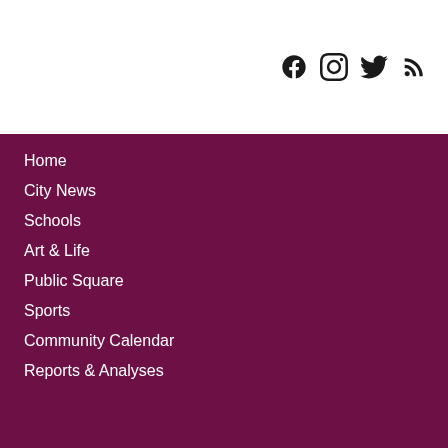[Figure (other): Social media icons: Facebook, Instagram, Twitter, RSS feed]
Home
City News
Schools
Art & Life
Public Square
Sports
Community Calendar
Reports & Analyses